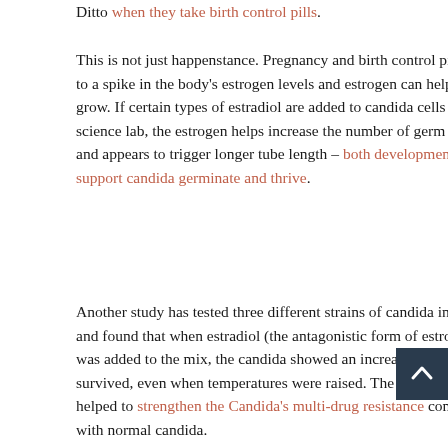Ditto when they take birth control pills.
This is not just happenstance. Pregnancy and birth control pills lead to a spike in the body's estrogen levels and estrogen can help candida grow. If certain types of estradiol are added to candida cells in a science lab, the estrogen helps increase the number of germ tubes and appears to trigger longer germ tube length – both developments that support candida germinate and thrive.
Another study has tested three different strains of candida in the lab and found that when estradiol (the antagonistic form of estrogen) was added to the mix, the candida showed an increase in growth and survived, even when temperatures were raised. The estrogen also helped to strengthen the Candida's multi-drug resistance compared with normal candida.